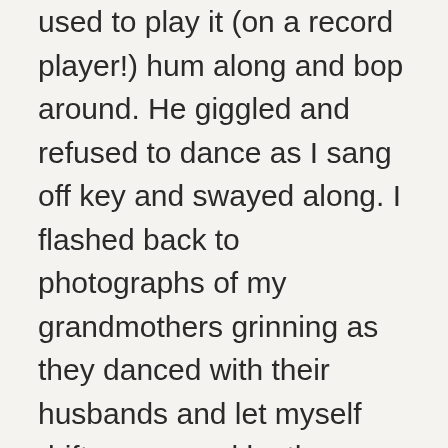used to play it (on a record player!) hum along and bop around. He giggled and refused to dance as I sang off key and swayed along. I flashed back to photographs of my grandmothers grinning as they danced with their husbands and let myself drift, reassured by the anchors they, and my Dobie Gray fan mom, had dropped into my DNA decades ago through passed down routines.